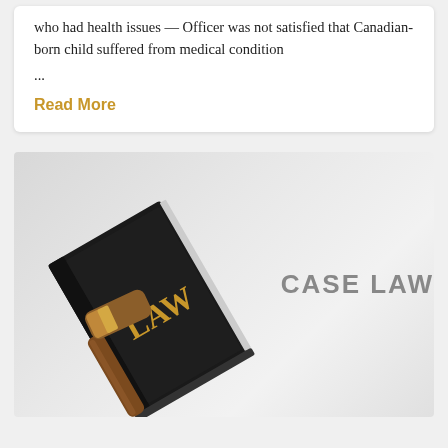who had health issues — Officer was not satisfied that Canadian-born child suffered from medical condition ...
Read More
[Figure (photo): A black law book with golden 'LAW' lettering and a wooden gavel resting on top, with 'CASE LAW' text overlay on a light grey background.]